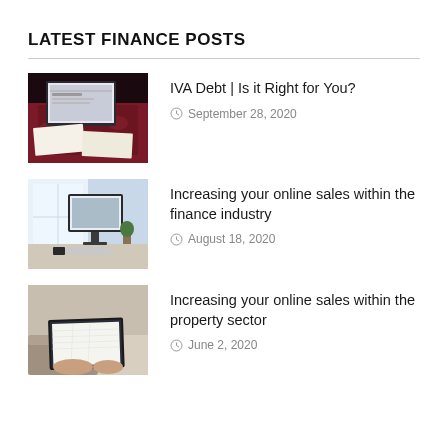LATEST FINANCE POSTS
[Figure (photo): Laptop and documents on a red patterned surface]
IVA Debt | Is it Right for You?
September 28, 2020
[Figure (photo): Desktop computer on a desk by a bright window]
Increasing your online sales within the finance industry
August 18, 2020
[Figure (photo): Person typing on a laptop at a desk]
Increasing your online sales within the property sector
June 2, 2020